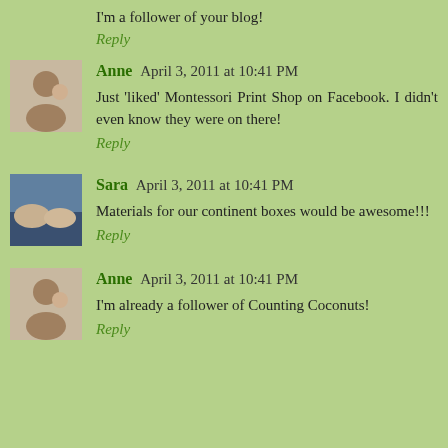I'm a follower of your blog!
Reply
Anne  April 3, 2011 at 10:41 PM
Just 'liked' Montessori Print Shop on Facebook. I didn't even know they were on there!
Reply
Sara  April 3, 2011 at 10:41 PM
Materials for our continent boxes would be awesome!!!
Reply
Anne  April 3, 2011 at 10:41 PM
I'm already a follower of Counting Coconuts!
Reply